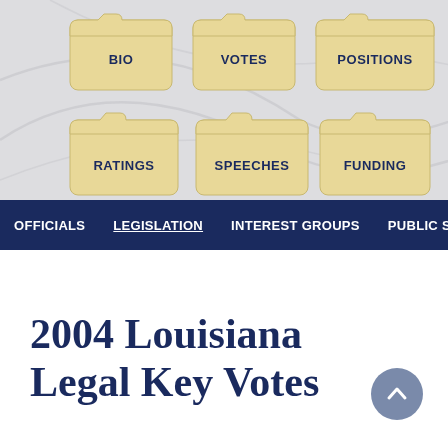[Figure (screenshot): Website navigation area showing six folder icons arranged in two rows labeled BIO, VOTES, POSITIONS (top row) and RATINGS, SPEECHES, FUNDING (bottom row) on a gray background with decorative curves]
OFFICIALS  LEGISLATION  INTEREST GROUPS  PUBLIC STATI...
2004 Louisiana Legal Key Votes